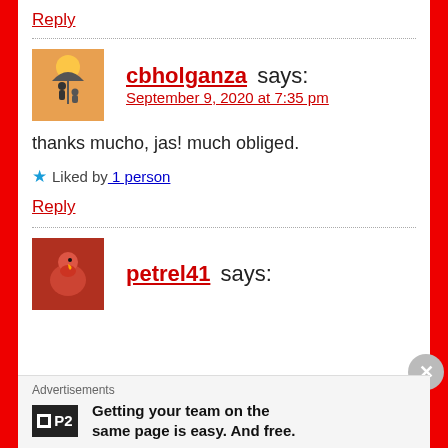Reply
cbholganza says:
September 9, 2020 at 7:35 pm
thanks mucho, jas! much obliged.
★ Liked by 1 person
Reply
petrel41 says:
Advertisements
Getting your team on the same page is easy. And free.